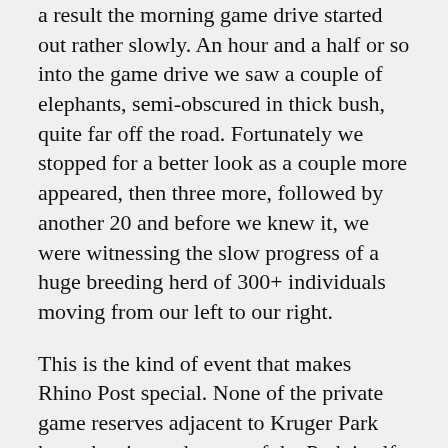a result the morning game drive started out rather slowly. An hour and a half or so into the game drive we saw a couple of elephants, semi-obscured in thick bush, quite far off the road. Fortunately we stopped for a better look as a couple more appeared, then three more, followed by another 20 and before we knew it, we were witnessing the slow progress of a huge breeding herd of 300+ individuals moving from our left to our right.
This is the kind of event that makes Rhino Post special. None of the private game reserves adjacent to Kruger Park have the size and scope of the Park itself. They offer fantastic game-viewing and you can go off-road to get photographs of the ecto-parasites on a buffalo's hide, if you wished. Inside the Park there are restrictions on driving off-road (prohibited) and there are